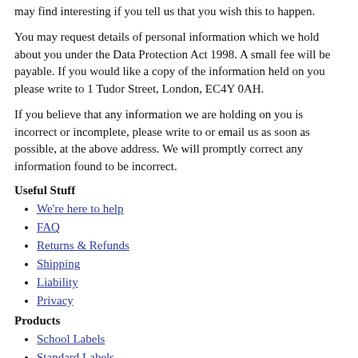may find interesting if you tell us that you wish this to happen.
You may request details of personal information which we hold about you under the Data Protection Act 1998. A small fee will be payable. If you would like a copy of the information held on you please write to 1 Tudor Street, London, EC4Y 0AH.
If you believe that any information we are holding on you is incorrect or incomplete, please write to or email us as soon as possible, at the above address. We will promptly correct any information found to be incorrect.
Useful Stuff
We're here to help
FAQ
Returns & Refunds
Shipping
Liability
Privacy
Products
School Labels
Standard Labels